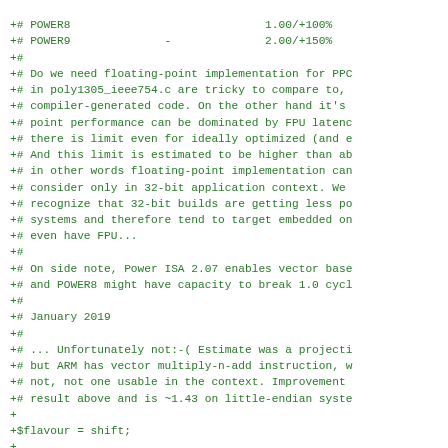+# POWER8                             1.00/+100%
+# POWER9              -              2.00/+150%
+#
+# Do we need floating-point implementation for PPC
+# in poly1305_ieee754.c are tricky to compare to,
+# compiler-generated code. On the other hand it's
+# point performance can be dominated by FPU latenc
+# there is limit even for ideally optimized (and e
+# And this limit is estimated to be higher than ab
+# in other words floating-point implementation can
+# consider only in 32-bit application context. We
+# recognize that 32-bit builds are getting less po
+# systems and therefore tend to target embedded on
+# even have FPU...
+#
+# On side note, Power ISA 2.07 enables vector base
+# and POWER8 might have capacity to break 1.0 cycl
+#
+# January 2019
+#
+# ... Unfortunately not:-( Estimate was a projecti
+# but ARM has vector multiply-n-add instruction, w
+# not, not one usable in the context. Improvement
+# result above and is ~1.43 on little-endian syste
+
+$flavour = shift;
+